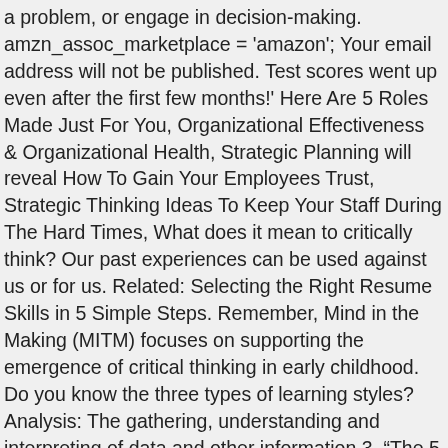a problem, or engage in decision-making. amzn_assoc_marketplace = 'amazon'; Your email address will not be published. Test scores went up even after the first few months!' Here Are 5 Roles Made Just For You, Organizational Effectiveness & Organizational Health, Strategic Planning will reveal How To Gain Your Employees Trust, Strategic Thinking Ideas To Keep Your Staff During The Hard Times, What does it mean to critically think? Our past experiences can be used against us or for us. Related: Selecting the Right Resume Skills in 5 Simple Steps. Remember, Mind in the Making (MITM) focuses on supporting the emergence of critical thinking in early childhood. Do you know the three types of learning styles? Analysis: The gathering, understanding and interpreting of data and other information.3. “The 5 Intelligence” is a masterful & versatile thinking tool that will strengthen your critical thinking skills, and show you how to maximize your thinking capacity by having a system and an order that saves you from dispersion and making unnecessary mistakes. 1. Critical thinking skills are important because they help businesses run smoothly and thrive by solving problems,